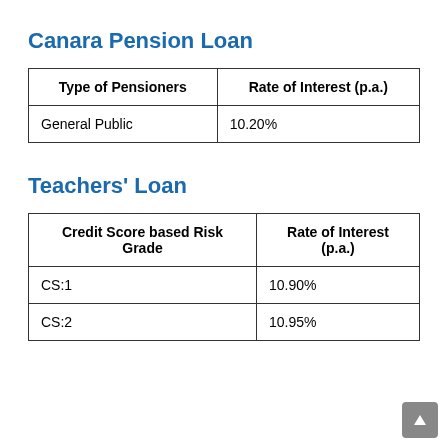Canara Pension Loan
| Type of Pensioners | Rate of Interest (p.a.) |
| --- | --- |
| General Public | 10.20% |
Teachers' Loan
| Credit Score based Risk Grade | Rate of Interest (p.a.) |
| --- | --- |
| CS:1 | 10.90% |
| CS:2 | 10.95% |